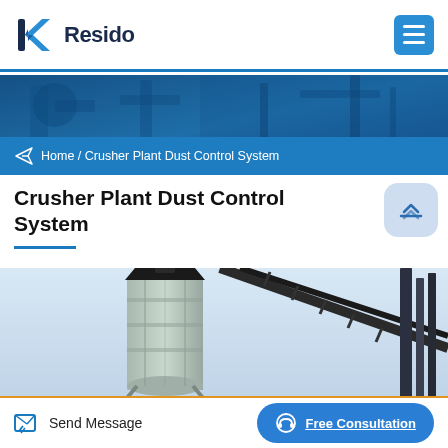Resido
[Figure (photo): Blue hero banner with industrial machinery/equipment silhouette in the background]
Home / Crusher Plant Dust Control System
Crusher Plant Dust Control System
[Figure (photo): Photo of industrial crusher plant dust control equipment showing a cylindrical silo/tank and metal conveyor structure against a light sky]
Send Message
Free Consultation